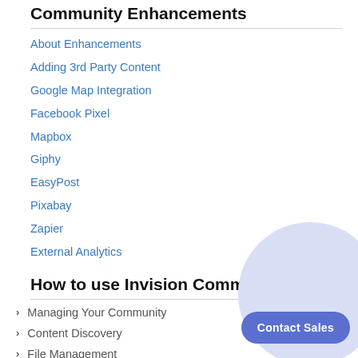Community Enhancements
About Enhancements
Adding 3rd Party Content
Google Map Integration
Facebook Pixel
Mapbox
Giphy
EasyPost
Pixabay
Zapier
External Analytics
How to use Invision Community
Managing Your Community
Content Discovery
File Management
Member Preferences and Features
Suite Applications